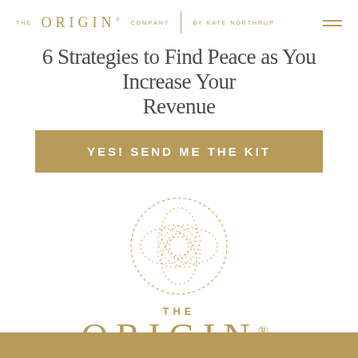THE ORIGIN® COMPANY | BY KATE NORTHRUP
6 Strategies to Find Peace as You Increase Your Revenue
YES! SEND ME THE KIT
[Figure (logo): The Origin Company logo — dotted circular mandala-like emblem with overlapping petal shapes, above text THE ORIGIN®]